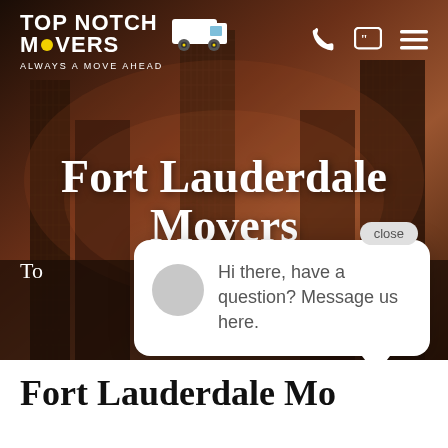[Figure (screenshot): Website screenshot of Top Notch Movers company page for Fort Lauderdale Movers, showing city skyline background in dark reddish-brown tones, navigation bar with logo and icons, main hero heading 'Fort Lauderdale Movers', a live chat popup bubble saying 'Hi there, have a question? Message us here.', and partial bottom title text.]
Fort Lauderdale Movers
Hi there, have a question? Message us here.